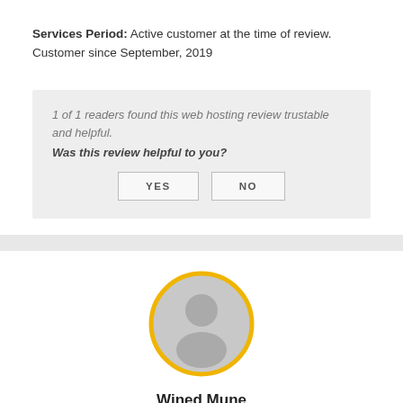Services Period: Active customer at the time of review. Customer since September, 2019
1 of 1 readers found this web hosting review trustable and helpful.
Was this review helpful to you?
[Figure (illustration): Gray avatar silhouette with yellow circular border representing user profile picture]
Wined Mune
[Figure (other): Five yellow star rating icons partially visible at bottom]